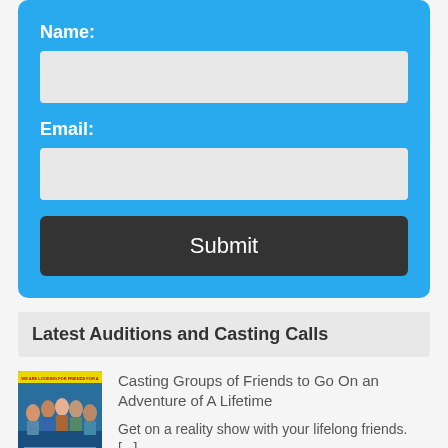Name:
Email:
Submit
Latest Auditions and Casting Calls
[Figure (photo): Promotional poster for a casting call showing a group of friends]
Casting Groups of Friends to Go On an Adventure of A Lifetime
Get on a reality show with your lifelong friends. [...]